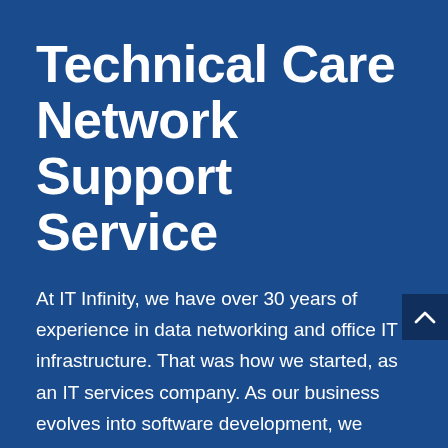Technical Care Network Support Service
At IT Infinity, we have over 30 years of experience in data networking and office IT infrastructure. That was how we started, as an IT services company. As our business evolves into software development, we continue to offer dedicated IT, data and networking services necessary for the smooth integration of our software with our clients' local area networks. Today, we have a